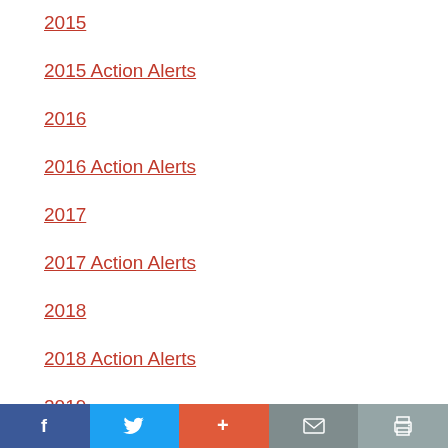2015
2015 Action Alerts
2016
2016 Action Alerts
2017
2017 Action Alerts
2018
2018 Action Alerts
2019
Facebook Twitter + Mail Print